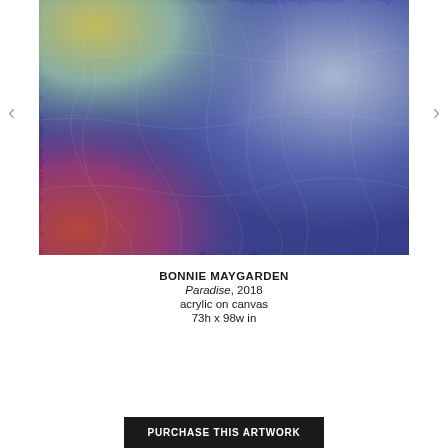[Figure (photo): Abstract acrylic painting on textured/wrinkled canvas surface with a gradient of colors: yellow-green in the top left, transitioning to light blue-grey in the upper center and right, and blending to deep blue-purple in the right and lower right areas, with warm red-orange hues in the lower left corner.]
BONNIE MAYGARDEN
Paradise, 2018
acrylic on canvas
73h x 98w in
PURCHASE THIS ARTWORK